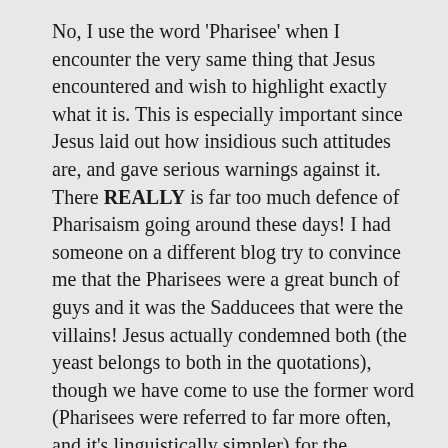No, I use the word 'Pharisee' when I encounter the very same thing that Jesus encountered and wish to highlight exactly what it is. This is especially important since Jesus laid out how insidious such attitudes are, and gave serious warnings against it. There REALLY is far too much defence of Pharisaism going around these days! I had someone on a different blog try to convince me that the Pharisees were a great bunch of guys and it was the Sadducees that were the villains! Jesus actually condemned both (the yeast belongs to both in the quotations), though we have come to use the former word (Pharisees were referred to far more often, and it's linguistically simpler) for the religiously bigoted attitude Jesus was against.
“There was no yeast working in the it’s way in the 4th century.”